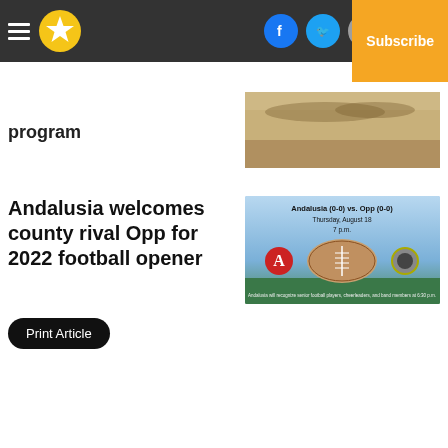Navigation bar with hamburger menu, star logo, Facebook, Twitter, Email icons, Log In, Subscribe
program
[Figure (photo): Outdoor sports field with people visible in background, brownish ground]
Andalusia welcomes county rival Opp for 2022 football opener
[Figure (infographic): Football game graphic: Andalusia (0-0) vs. Opp (0-0), Thursday, August 18, 7 p.m. with team logos and football image]
Print Article